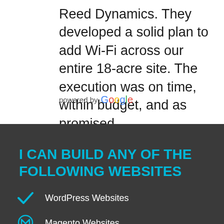Reed Dynamics. They developed a solid plan to add Wi-Fi across our entire 18-acre site. The execution was on time, within budget, and as promised.
powered by Google
I CAN BUILD ANY OF THE FOLLOWING WEBSITES
WordPress Websites
Magento Websites
Small Business Websites